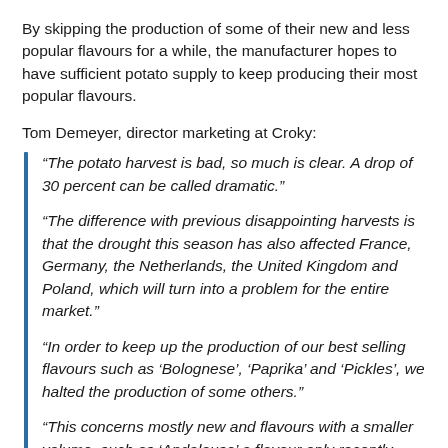By skipping the production of some of their new and less popular flavours for a while, the manufacturer hopes to have sufficient potato supply to keep producing their most popular flavours.
Tom Demeyer, director marketing at Croky:
“The potato harvest is bad, so much is clear. A drop of 30 percent can be called dramatic.”
“The difference with previous disappointing harvests is that the drought this season has also affected France, Germany, the Netherlands, the United Kingdom and Poland, which will turn into a problem for the entire market.”
“In order to keep up the production of our best selling flavours such as ‘Bolognese’, ‘Paprika’ and ‘Pickles’, we halted the production of some others.”
“This concerns mostly new and flavours with a smaller volume, such as ‘Andalouse’ a flavour only recently launched. Also the production of the 200 gram packing size of Naturel+ is on hold for now.”
Consumers that fancy these flavours can relax, though.